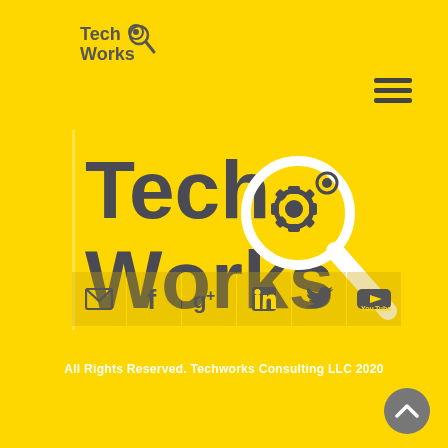[Figure (logo): TechWorks logo small version - top left, grey text with gear and magnifier icon on yellow background]
[Figure (other): Hamburger menu icon - three horizontal dark lines, top right area]
[Figure (logo): Large TechWorks logo - bold dark grey text 'Tech Works' with gear/magnifier icon on yellow background]
[Figure (infographic): Social media icons row: email, facebook, google+, linkedin, twitter, youtube - on slightly darker yellow square backgrounds]
All Rights Reserved. Techworks Consulting LLC 2020
[Figure (other): Scroll-to-top button - dark grey circle with white upward chevron, bottom right]